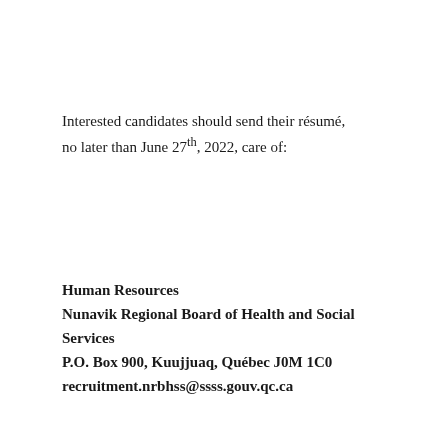Interested candidates should send their résumé, no later than June 27th, 2022, care of:
Human Resources
Nunavik Regional Board of Health and Social Services
P.O. Box 900, Kuujjuaq, Québec J0M 1C0
recruitment.nrbhss@ssss.gouv.qc.ca